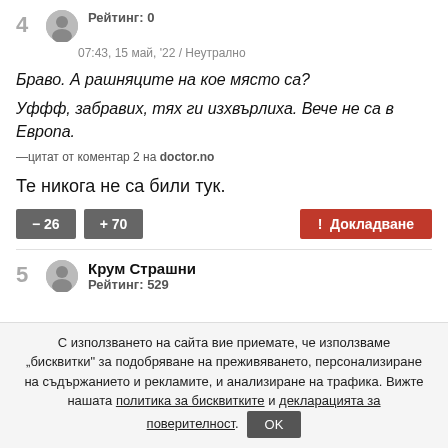Рейтинг: 0
07:43, 15 май, '22 / Неутрално
Браво. А рашняците на кое място са?
Уффф, забравих, тях ги изхвърлиха. Вече не са в Европа. —цитат от коментар 2 на doctor.no
Те никога не са били тук.
— 26   + 70   ! Докладване
Крум Страшни
Рейтинг: 529
С използването на сайта вие приемате, че използваме „бисквитки" за подобряване на преживяването, персонализиране на съдържанието и рекламите, и анализиране на трафика. Вижте нашата политика за бисквитките и декларацията за поверителност.